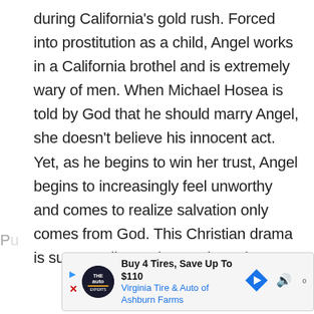during California's gold rush. Forced into prostitution as a child, Angel works in a California brothel and is extremely wary of men. When Michael Hosea is told by God that he should marry Angel, she doesn't believe his innocent act. Yet, as he begins to win her trust, Angel begins to increasingly feel unworthy and comes to realize salvation only comes from God. This Christian drama is supposedly coming out in early 2021.
[Figure (other): Advertisement banner: Buy 4 Tires, Save Up To $110 - Virginia Tire & Auto of Ashburn Farms, with play/close icons, logo, directional arrow icon, and audio wave icon]